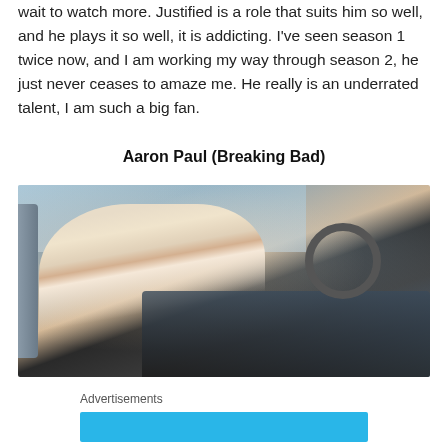wait to watch more. Justified is a role that suits him so well, and he plays it so well, it is addicting. I've seen season 1 twice now, and I am working my way through season 2, he just never ceases to amaze me. He really is an underrated talent, I am such a big fan.
Aaron Paul (Breaking Bad)
[Figure (photo): Aaron Paul sitting inside a car, wearing a white jacket over a dark graphic shirt, looking to the side with one hand raised near his face. The car interior shows a steering wheel and dashboard. Background shows mountains and sky through the car window.]
Advertisements